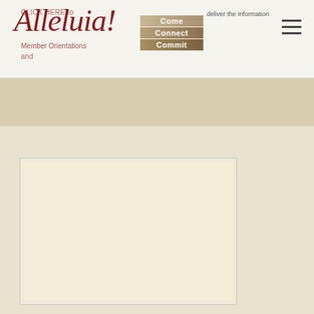Alleluia! Come Connect Commit
CLICK HERE to deliver the Information and Member Orientations
[Figure (screenshot): Embedded document or form preview panel with light cream background]
[Figure (logo): Alleluia! logo with red italic script text and Come/Connect/Commit tan gradient taglines]